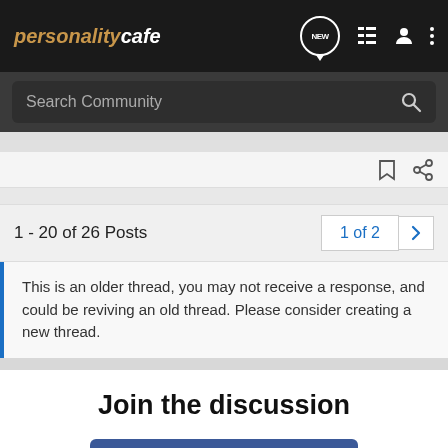personality cafe
Search Community
1 - 20 of 26 Posts
1 of 2
This is an older thread, you may not receive a response, and could be reviving an old thread. Please consider creating a new thread.
Join the discussion
Continue with Facebook
Continue with Google